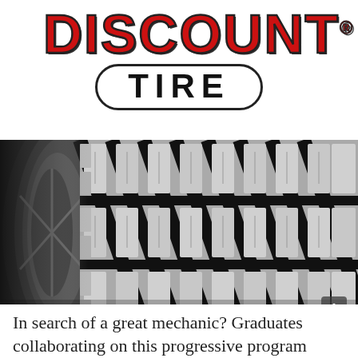[Figure (logo): Discount Tire logo: large red bold 'DISCOUNT' text with black outline above, and 'TIRE' in black inside a rounded rectangle pill border.]
[Figure (photo): Close-up photograph of a car tire tread pattern in black and white, showing detailed grooves and blocks of the tread, with wheel rim visible on the left side.]
In search of a great mechanic? Graduates collaborating on this progressive program